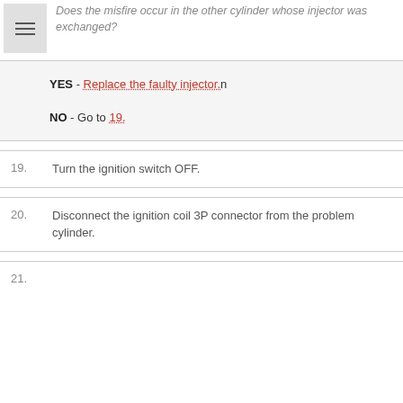Does the misfire occur in the other cylinder whose injector was exchanged?
YES - Replace the faulty injector.n
NO - Go to 19.
19. Turn the ignition switch OFF.
20. Disconnect the ignition coil 3P connector from the problem cylinder.
21. (partial, cut off)